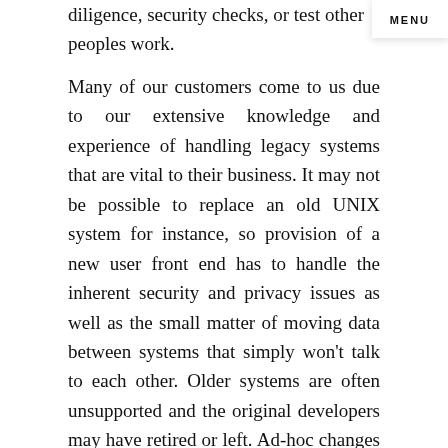diligence, security checks, or test other peoples work.
MENU
Many of our customers come to us due to our extensive knowledge and experience of handling legacy systems that are vital to their business. It may not be possible to replace an old UNIX system for instance, so provision of a new user front end has to handle the inherent security and privacy issues as well as the small matter of moving data between systems that simply won’t talk to each other. Older systems are often unsupported and the original developers may have retired or left. Ad-hoc changes over the years leave the systems “buggy” and undocumented.